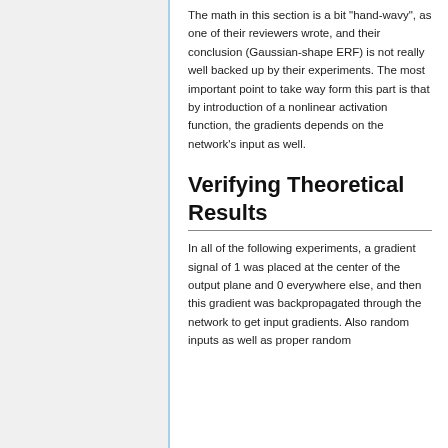The math in this section is a bit "hand-wavy", as one of their reviewers wrote, and their conclusion (Gaussian-shape ERF) is not really well backed up by their experiments. The most important point to take way form this part is that by introduction of a nonlinear activation function, the gradients depends on the network's input as well.
Verifying Theoretical Results
In all of the following experiments, a gradient signal of 1 was placed at the center of the output plane and 0 everywhere else, and then this gradient was backpropagated through the network to get input gradients. Also random inputs as well as proper random